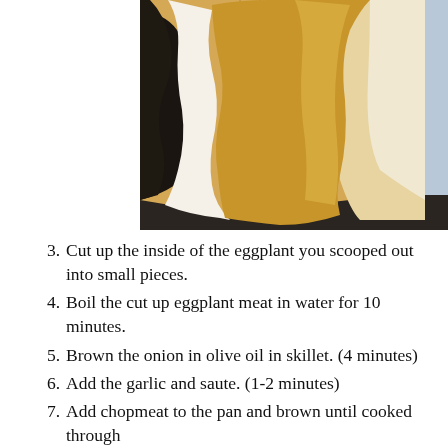[Figure (photo): Close-up photo of the inside flesh of a halved eggplant, showing scooped-out golden-brown interior flesh against a dark pan, with a pale blue background]
Cut up the inside of the eggplant you scooped out into small pieces.
Boil the cut up eggplant meat in water for 10 minutes.
Brown the onion in olive oil in skillet. (4 minutes)
Add the garlic and saute. (1-2 minutes)
Add chopmeat to the pan and brown until cooked through